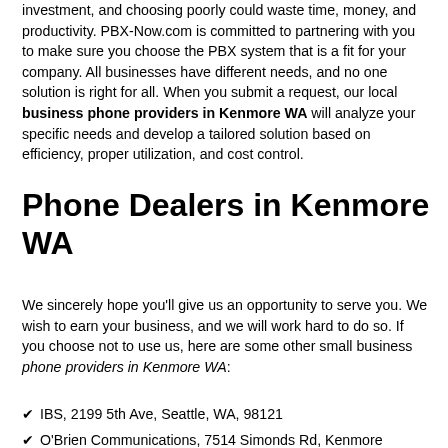investment, and choosing poorly could waste time, money, and productivity. PBX-Now.com is committed to partnering with you to make sure you choose the PBX system that is a fit for your company. All businesses have different needs, and no one solution is right for all. When you submit a request, our local business phone providers in Kenmore WA will analyze your specific needs and develop a tailored solution based on efficiency, proper utilization, and cost control.
Phone Dealers in Kenmore WA
We sincerely hope you'll give us an opportunity to serve you. We wish to earn your business, and we will work hard to do so. If you choose not to use us, here are some other small business phone providers in Kenmore WA:
IBS, 2199 5th Ave, Seattle, WA, 98121
O'Brien Communications, 7514 Simonds Rd, Kenmore